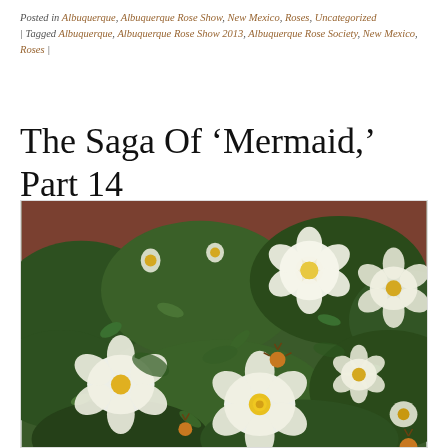Posted in Albuquerque, Albuquerque Rose Show, New Mexico, Roses, Uncategorized | Tagged Albuquerque, Albuquerque Rose Show 2013, Albuquerque Rose Society, New Mexico, Roses |
The Saga Of ‘Mermaid,’ Part 14
[Figure (photo): A photograph of a rose bush with multiple white flowers with yellow centers, set against dark green foliage and a reddish-brown wall in the background.]